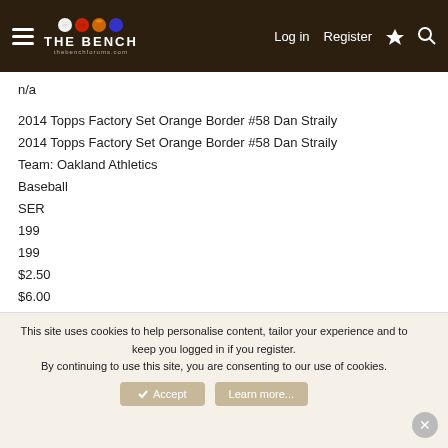THE BENCH — Log in | Register
n/a
2014 Topps Factory Set Orange Border #58 Dan Straily
2014 Topps Factory Set Orange Border #58 Dan Straily
Team: Oakland Athletics
Baseball
SER
199
199
$2.50
$6.00
2014 Topps Gold #58 Dan Straily
2014 Topps Gold #58 Dan Straily
Team: Oakland Athletics
This site uses cookies to help personalise content, tailor your experience and to keep you logged in if you register.
By continuing to use this site, you are consenting to our use of cookies.